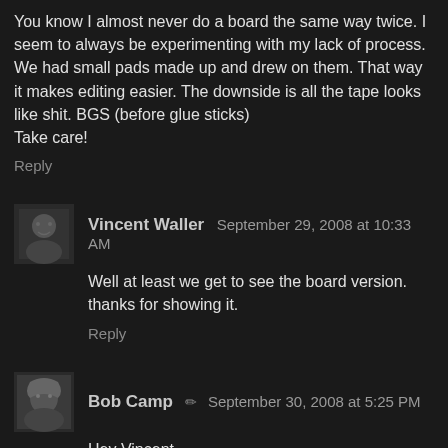You know I almost never do a board the same way twice. I seem to always be experimenting with my lack of process. We had small pads made up and drew on them. That way it makes editing easier. The downside is all the tape looks like shit. BGS (before glue sticks)
Take care!
Reply
[Figure (photo): Small grayscale avatar image]
Vincent Waller  September 29, 2008 at 10:33 AM
Well at least we get to see the board version.
thanks for showing it.
Reply
[Figure (photo): Small grayscale avatar image of a character]
Bob Camp  ✏  September 30, 2008 at 5:25 PM
Hey Vincent,
Yeah it's nice to share it.
Reply